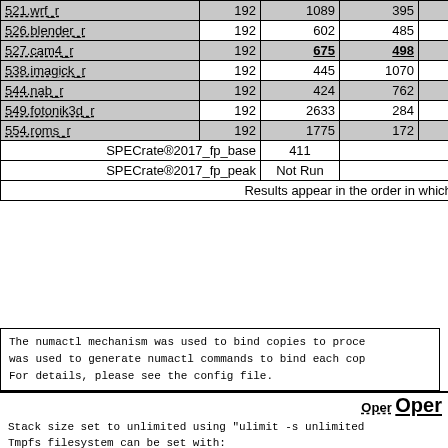| Benchmark | Copies | Base Run Time | Base Rate | Peak Run Time | Peak Rate |
| --- | --- | --- | --- | --- | --- |
| 521.wrf_r | 192 | 1089 | 395 | 1089 |
| 526.blender_r | 192 | 602 | 485 | 603 |
| 527.cam4_r | 192 | 675 | 498 | 671 |
| 538.imagick_r | 192 | 445 | 1070 | 445 |
| 544.nab_r | 192 | 424 | 762 | 422 |
| 549.fotonik3d_r | 192 | 2633 | 284 | 2633 |
| 554.roms_r | 192 | 1775 | 172 | 1773 |
| SPECrate®2017_fp_base |  | 411 |  |  |
| SPECrate®2017_fp_peak |  | Not Run |  |  |
Results appear in the order in which they w
The numactl mechanism was used to bind copies to proces was used to generate numactl commands to bind each cop For details, please see the config file.
Oper
Stack size set to unlimited using "ulimit -s unlimited Tmpfs filesystem can be set with:
 mount -t tmpfs -o size=800g tmpfs /home
Process tuning setting:
 echo 50000    > /proc/sys/kernel/sched_cfs_bandwidth_
 echo 240000000 > /proc/sys/kernel/sched_latency_ns